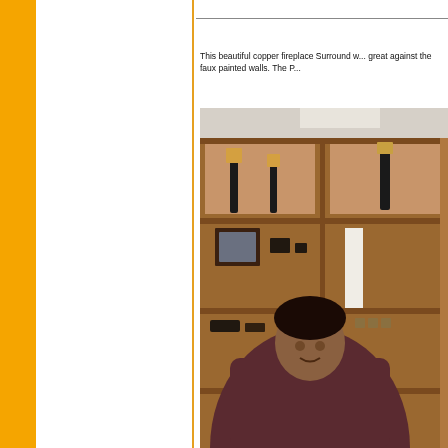This beautiful copper fireplace Surround w... great against the faux painted walls. The P...
[Figure (photo): Interior room photo showing a wooden bookshelf unit with candles, picture frames, and decorative items. A person in a dark maroon/purple sweater is seated in front of the shelving unit.]